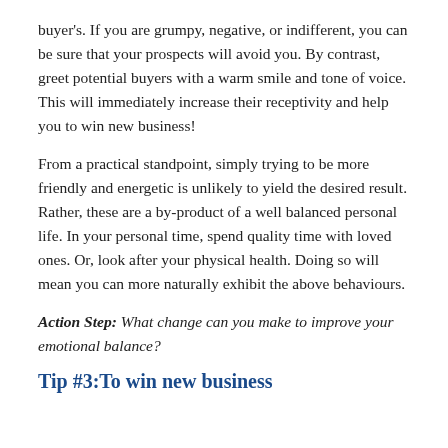buyer's. If you are grumpy, negative, or indifferent, you can be sure that your prospects will avoid you. By contrast, greet potential buyers with a warm smile and tone of voice. This will immediately increase their receptivity and help you to win new business!
From a practical standpoint, simply trying to be more friendly and energetic is unlikely to yield the desired result. Rather, these are a by-product of a well balanced personal life. In your personal time, spend quality time with loved ones. Or, look after your physical health. Doing so will mean you can more naturally exhibit the above behaviours.
Action Step: What change can you make to improve your emotional balance?
Tip #3:To win new business